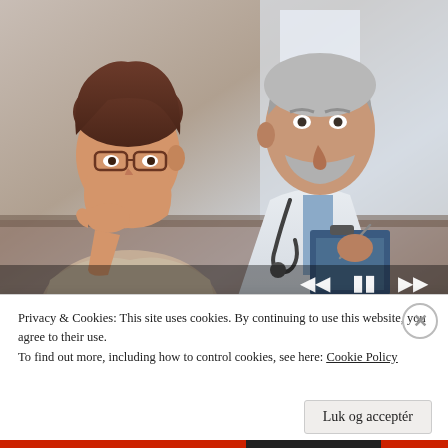[Figure (photo): A middle-aged woman with glasses looking concerned sits across from an older male doctor in a white coat with stethoscope who is writing on a clipboard. Medical consultation scene. Video player controls visible at bottom right of image.]
Insurance-Based Care Limits Personalized Precision Cancer Treatment Options
Privacy & Cookies: This site uses cookies. By continuing to use this website, you agree to their use.
To find out more, including how to control cookies, see here: Cookie Policy
Luk og acceptér